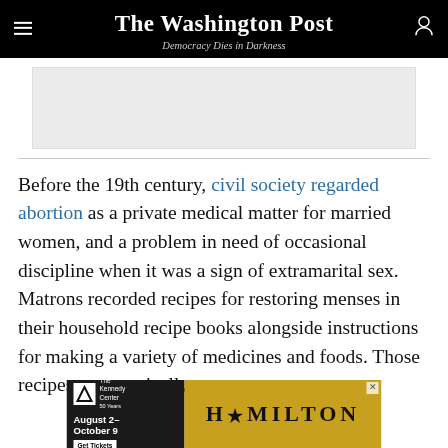The Washington Post — Democracy Dies in Darkness
[Figure (other): Gray advertisement placeholder box]
Before the 19th century, civil society regarded abortion as a private medical matter for married women, and a problem in need of occasional discipline when it was a sign of extramarital sex. Matrons recorded recipes for restoring menses in their household recipe books alongside instructions for making a variety of medicines and foods. Those recipes were typically
[Figure (other): Banner advertisement for Hamilton at The Kennedy Center, August 2 – October 9, Get Tickets, with gold background and stylized HAMILTON logo with star]